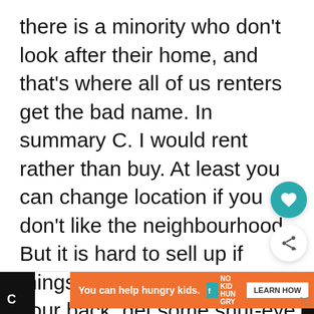there is a minority who don't look after their home, and that's where all of us renters get the bad name. In summary C. I would rent rather than buy. At least you can change location if you don't like the neighbourhood. But it is hard to sell up if things don't work out. Save your back, get some shut-eye, and rent mate.
Reply
[Figure (other): Advertisement banner: orange background, 'You can help hungry kids.' text with No Kid Hungry logo and 'LEARN HOW' button]